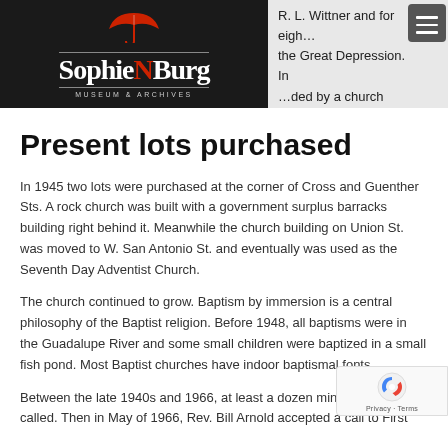[Figure (logo): SophieNBurg Museum & Archives logo — white text on black background with red umbrella icon]
R. L. Wittner and for eigh… the Great Depression. In …ded by a church member at … own to 166.
Present lots purchased
In 1945 two lots were purchased at the corner of Cross and Guenther Sts. A rock church was built with a government surplus barracks building right behind it. Meanwhile the church building on Union St. was moved to W. San Antonio St. and eventually was used as the Seventh Day Adventist Church.
The church continued to grow. Baptism by immersion is a central philosophy of the Baptist religion. Before 1948, all baptisms were in the Guadalupe River and some small children were baptized in a small fish pond. Most Baptist churches have indoor baptismal fonts.
Between the late 1940s and 1966, at least a dozen ministers were called. Then in May of 1966, Rev. Bill Arnold accepted a call to First…